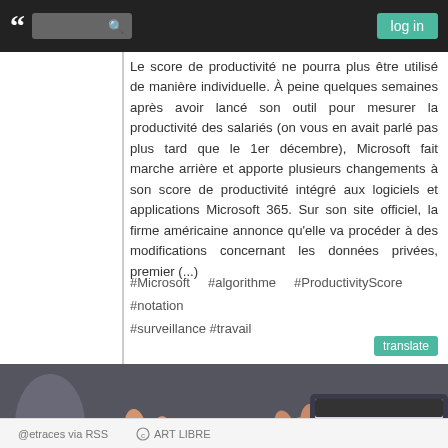log in
Le score de productivité ne pourra plus être utilisé de manière individuelle. À peine quelques semaines après avoir lancé son outil pour mesurer la productivité des salariés (on vous en avait parlé pas plus tard que le 1er décembre), Microsoft fait marche arrière et apporte plusieurs changements à son score de productivité intégré aux logiciels et applications Microsoft 365. Sur son site officiel, la firme américaine annonce qu'elle va procéder à des modifications concernant les données privées, premier (...)
#Microsoft   #algorithme   #ProductivityScore   #notation #surveillance #travail
[Figure (photo): A person in a plaid shirt gesturing with both hands near a laptop at a desk, in a meeting or work setting.]
@etraces via RSS   ART LIBRE